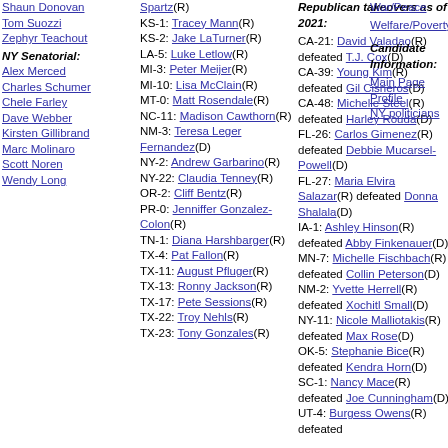Shaun Donovan
Tom Suozzi
Zephyr Teachout
NY Senatorial:
Alex Merced
Charles Schumer
Chele Farley
Dave Webber
Kirsten Gillibrand
Marc Molinaro
Scott Noren
Wendy Long
KS-1: Tracey Mann(R)
KS-2: Jake LaTurner(R)
LA-5: Luke Letlow(R)
MI-3: Peter Meijer(R)
MI-10: Lisa McClain(R)
MT-0: Matt Rosendale(R)
NC-11: Madison Cawthorn(R)
NM-3: Teresa Leger Fernandez(D)
NY-2: Andrew Garbarino(R)
NY-22: Claudia Tenney(R)
OR-2: Cliff Bentz(R)
PR-0: Jenniffer Gonzalez-Colon(R)
TN-1: Diana Harshbarger(R)
TX-4: Pat Fallon(R)
TX-11: August Pfluger(R)
TX-13: Ronny Jackson(R)
TX-17: Pete Sessions(R)
TX-22: Troy Nehls(R)
TX-23: Tony Gonzales(R)
Republican takeovers as of 2021:
CA-21: David Valadao(R) defeated T.J. Cox(D)
CA-39: Young Kim(R) defeated Gil Cisneros(D)
CA-48: Michelle Steel(R) defeated Harley Rouda(D)
FL-26: Carlos Gimenez(R) defeated Debbie Mucarsel-Powell(D)
FL-27: Maria Elvira Salazar(R) defeated Donna Shalala(D)
IA-1: Ashley Hinson(R) defeated Abby Finkenauer(D)
MN-7: Michelle Fischbach(R) defeated Collin Peterson(D)
NM-2: Yvette Herrell(R) defeated Xochitl Small(D)
NY-11: Nicole Malliotakis(R) defeated Max Rose(D)
OK-5: Stephanie Bice(R) defeated Kendra Horn(D)
SC-1: Nancy Mace(R) defeated Joe Cunningham(D)
UT-4: Burgess Owens(R) defeated
War/Peace
Welfare/Poverty
Candidate Information:
Main Page
Profile
NY politicians